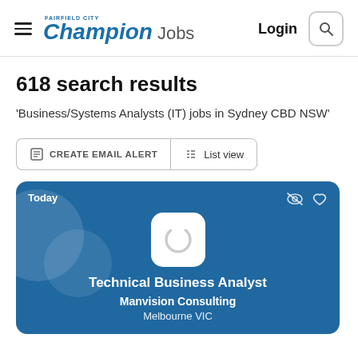Fairfield City Champion Jobs  Login
618 search results
'Business/Systems Analysts (IT) jobs in Sydney CBD NSW'
CREATE EMAIL ALERT   List view
[Figure (screenshot): Job listing card for Technical Business Analyst at Manvision Consulting, Melbourne VIC, posted Today. Blue card with company logo placeholder and decorative circles.]
Technical Business Analyst
Manvision Consulting
Melbourne VIC